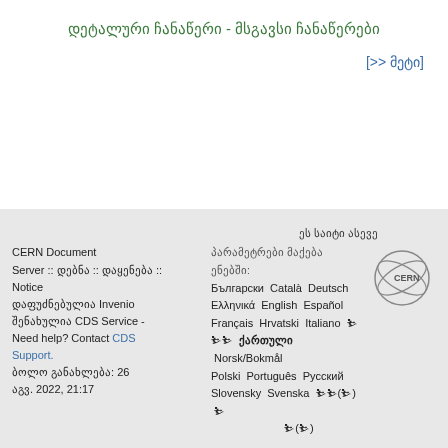დეტალური ჩანაწერი - მსგავსი ჩანაწერები
[>> მეტი]
CERN Document Server :: დებნა :: დაყენება :: პირადი პარამეტრები მაქება ენებში: დაფუძნებულია Invenio შენახულია CDS Service - Need help? Contact CDS Support. ბოლო განახლება: 26 აგვ. 2022, 21:17 | Български Català Deutsch Ελληνικά English Español Français Hrvatski Italiano ☒ ☒☒ ქართული Norsk/Bokmål Polski Português Русский Slovensky Svenska ☒☒(☒) ☒ ☒(☒)